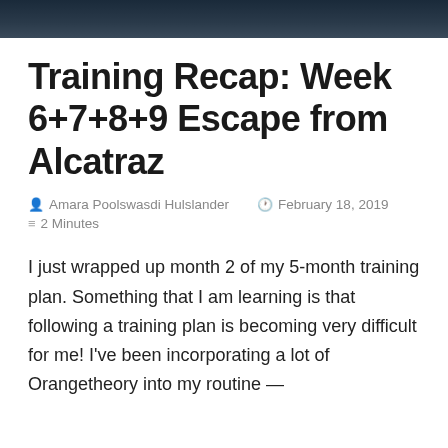[Figure (photo): Dark blue/navy header image banner at the top of the page]
Training Recap: Week 6+7+8+9 Escape from Alcatraz
Amara Poolswasdi Hulslander   February 18, 2019
2 Minutes
I just wrapped up month 2 of my 5-month training plan. Something that I am learning is that following a training plan is becoming very difficult for me! I've been incorporating a lot of Orangetheory into my routine —